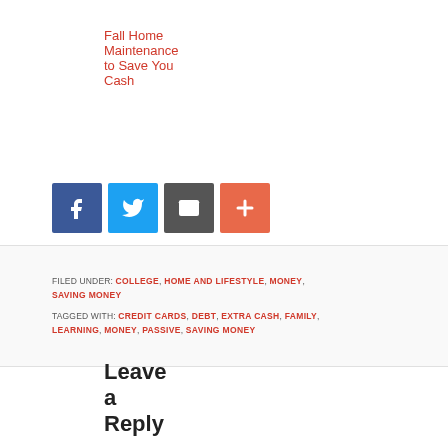Fall Home Maintenance to Save You Cash
[Figure (other): Social sharing buttons: Facebook (blue), Twitter (light blue), Email (grey), More/Plus (orange-red)]
FILED UNDER: COLLEGE, HOME AND LIFESTYLE, MONEY, SAVING MONEY
TAGGED WITH: CREDIT CARDS, DEBT, EXTRA CASH, FAMILY, LEARNING, MONEY, PASSIVE, SAVING MONEY
Leave a Reply